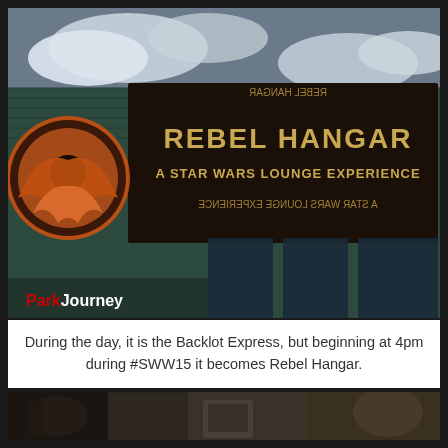[Figure (photo): Exterior photograph of the Rebel Hangar venue at Hollywood Studios. A large banner reads 'REBEL HANGAR - A STAR WARS LOUNGE EXPERIENCE'. The building has a corrugated metal green wall and the Rebel Alliance logo is visible. The watermark 'ParkJourney' appears in red and white in the lower-left corner.]
During the day, it is the Backlot Express, but beginning at 4pm during #SWW15 it becomes Rebel Hangar.
[Figure (photo): Bottom portion of a second photo showing Star Wars themed props and merchandise, partially cropped.]